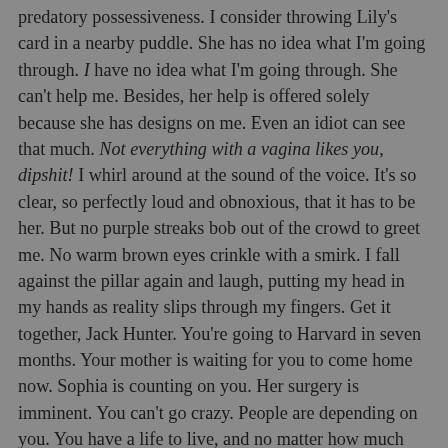predatory possessiveness. I consider throwing Lily's card in a nearby puddle. She has no idea what I'm going through. I have no idea what I'm going through. She can't help me. Besides, her help is offered solely because she has designs on me. Even an idiot can see that much. Not everything with a vagina likes you, dipshit! I whirl around at the sound of the voice. It's so clear, so perfectly loud and obnoxious, that it has to be her. But no purple streaks bob out of the crowd to greet me. No warm brown eyes crinkle with a smirk. I fall against the pillar again and laugh, putting my head in my hands as reality slips through my fingers. Get it together, Jack Hunter. You're going to Harvard in seven months. Your mother is waiting for you to come home now. Sophia is counting on you. Her surgery is imminent. You can't go crazy. People are depending on you. You have a life to live, and no matter how much you wish on stars, no matter how much you bargain with God or with the doctors, that life does not include Isis Blake any longer. You're a stranger to her. The hole she burned in the ice must be filled. There is no warmth anymore. You barely tasted it, [continues]